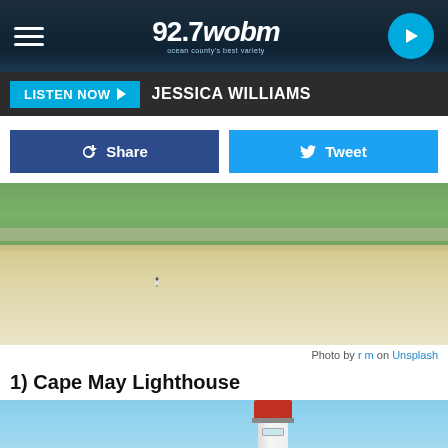92.7 wobm
LISTEN NOW  JESSICA WILLIAMS
Share  Tweet
[Figure (photo): Beach scene with sandy shore, vegetation and dunes in the background, and a seagull standing on the sand in the foreground]
Photo by r m on Unsplash
1) Cape May Lighthouse
[Figure (photo): Lighthouse (Cape May Lighthouse) against a blue sky, showing the top portion with red lantern room and white tower]